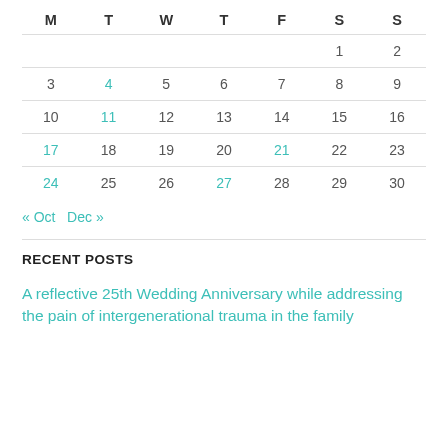| M | T | W | T | F | S | S |
| --- | --- | --- | --- | --- | --- | --- |
|  |  |  |  |  | 1 | 2 |
| 3 | 4 | 5 | 6 | 7 | 8 | 9 |
| 10 | 11 | 12 | 13 | 14 | 15 | 16 |
| 17 | 18 | 19 | 20 | 21 | 22 | 23 |
| 24 | 25 | 26 | 27 | 28 | 29 | 30 |
« Oct  Dec »
RECENT POSTS
A reflective 25th Wedding Anniversary while addressing the pain of intergenerational trauma in the family